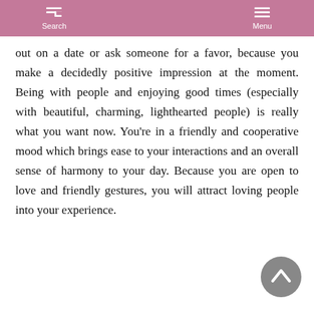Search   Menu
out on a date or ask someone for a favor, because you make a decidedly positive impression at the moment. Being with people and enjoying good times (especially with beautiful, charming, lighthearted people) is really what you want now. You’re in a friendly and cooperative mood which brings ease to your interactions and an overall sense of harmony to your day. Because you are open to love and friendly gestures, you will attract loving people into your experience.